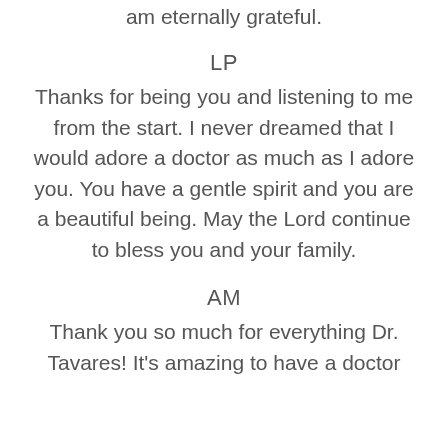am eternally grateful.
LP
Thanks for being you and listening to me from the start. I never dreamed that I would adore a doctor as much as I adore you. You have a gentle spirit and you are a beautiful being. May the Lord continue to bless you and your family.
AM
Thank you so much for everything Dr. Tavares! It's amazing to have a doctor